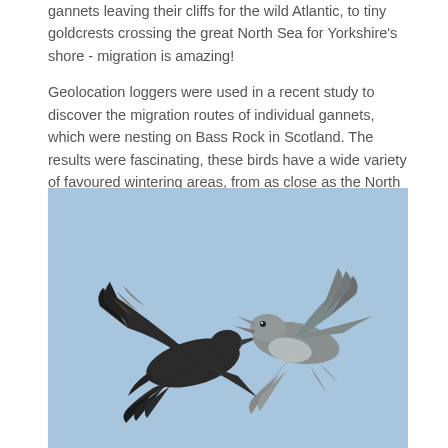gannets leaving their cliffs for the wild Atlantic, to tiny goldcrests crossing the great North Sea for Yorkshire's shore - migration is amazing!
Geolocation loggers were used in a recent study to discover the migration routes of individual gannets, which were nesting on Bass Rock in Scotland. The results were fascinating, these birds have a wide variety of favoured wintering areas, from as close as the North Sea to as far away as West Africa!
[Figure (photo): Two large seabirds (gannets) in mid-air confrontation against a pale blue sky background. One bird is dark/black with spread wings on the left, the other is lighter colored with beak open on the right, both with wings fully extended.]